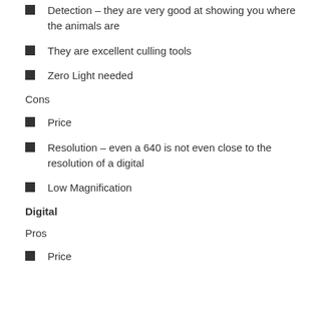Detection – they are very good at showing you where the animals are
They are excellent culling tools
Zero Light needed
Cons
Price
Resolution – even a 640 is not even close to the resolution of a digital
Low Magnification
Digital
Pros
Price